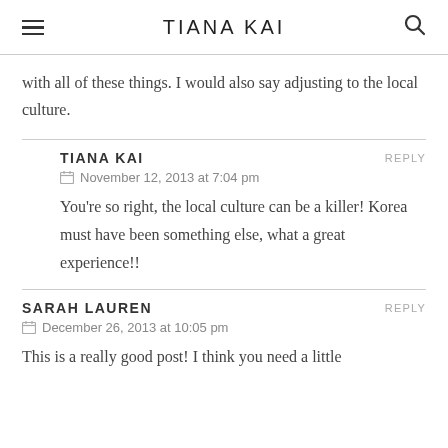TIANA KAI
with all of these things. I would also say adjusting to the local culture.
TIANA KAI — REPLY
November 12, 2013 at 7:04 pm
You're so right, the local culture can be a killer! Korea must have been something else, what a great experience!!
SARAH LAUREN — REPLY
December 26, 2013 at 10:05 pm
This is a really good post! I think you need a little